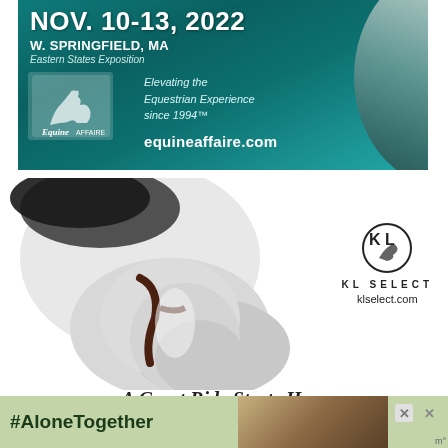[Figure (photo): Equine Affaire advertisement with teal/dark green background. Shows text NOV. 10-13, 2022 / W. SPRINGFIELD, MA / Eastern States Exposition / Elevating the Equestrian Experience since 1994 / equineaffaire.com with Equine Affaire logo and horse photo.]
[Figure (photo): White/grey horse head with dark bridle on white background, KL SELECT logo and klselect.com text to the right.]
[Figure (photo): Bottom banner advertisement with light green background showing #AloneTogether hashtag text and photo of people on the right side with close X buttons.]